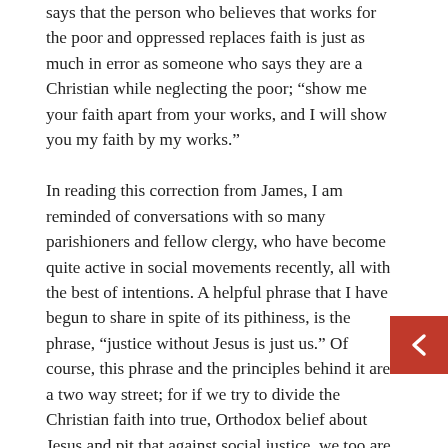says that the person who believes that works for the poor and oppressed replaces faith is just as much in error as someone who says they are a Christian while neglecting the poor; "show me your faith apart from your works, and I will show you my faith by my works."

In reading this correction from James, I am reminded of conversations with so many parishioners and fellow clergy, who have become quite active in social movements recently, all with the best of intentions. A helpful phrase that I have begun to share in spite of its pithiness, is the phrase, "justice without Jesus is just us." Of course, this phrase and the principles behind it are a two way street; for if we try to divide the Christian faith into true, Orthodox belief about Jesus and pit that against social justice, we too are substituting human wisdom for Christ, it is also "just us." You could say "Jesus without justice is just us." It is God's intention for us that fa our trust that God is good and loving, and exactly who he revealed himself to be in Jesus Christ, and that our works which follow this true belief, not exist in division, or God forbid, exist at war with one another, but in harmony.